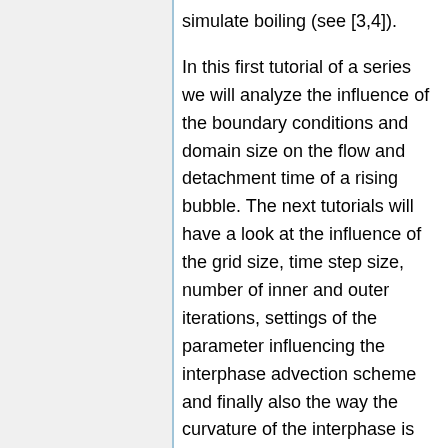simulate boiling (see [3,4]).
In this first tutorial of a series we will analyze the influence of the boundary conditions and domain size on the flow and detachment time of a rising bubble. The next tutorials will have a look at the influence of the grid size, time step size, number of inner and outer iterations, settings of the parameter influencing the interphase advection scheme and finally also the way the curvature of the interphase is computed.
Setup of the experiment
In the next figure the experimental setup used in [1] is sketched. The experimental facility comprises a horizontal surface from which the bubble growth takes place. This surface is submerged in a 20